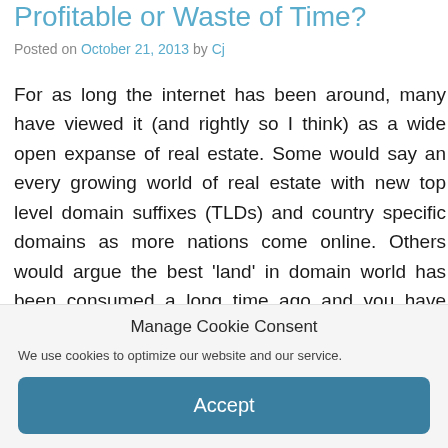Profitable or Waste of Time?
Posted on October 21, 2013 by Cj
For as long the internet has been around, many have viewed it (and rightly so I think) as a wide open expanse of real estate. Some would say an every growing world of real estate with new top level domain suffixes (TLDs) and country specific domains as more nations come online. Others would argue the best ‘land’ in domain world has been consumed a long time ago and you have empires built in some areas and ruthless squatters and speculators elsewhere looking purely to flip
Manage Cookie Consent
We use cookies to optimize our website and our service.
Accept